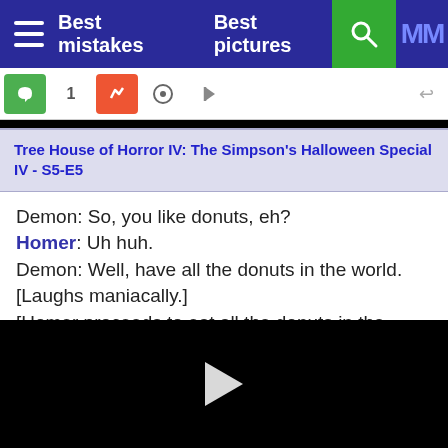Best mistakes   Best pictures
Tree House of Horror IV: The Simpson's Halloween Special IV - S5-E5
Demon: So, you like donuts, eh?
Homer: Uh huh.
Demon: Well, have all the donuts in the world. [Laughs maniacally.]
[Homer proceeds to eat all the donuts in the world with little effort.]
[Figure (other): Black video player area with white play button triangle in center]